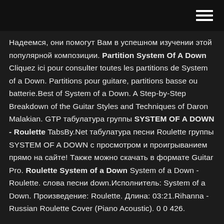[hamburger menu icon]
Надеемся, они помогут Вам в успешном изучении этой популярной композиции. Partition System Of A Down Cliquez ici pour consulter toutes les partitions de System of a Down. Partitions pour guitare, partitions basse ou batterie.Best of System of a Down. A Step-by-Step Breakdown of the Guitar Styles and Techniques of Daron Malakian. GTP табулатура группы SYSTEM OF A DOWN - Roulette TabsBy.Net табулатура песни Roulette группы SYSTEM OF A DOWN с просмотром и проигрыванием прямо на сайте! Также можно скачать в формате Guitar Pro. Roulette System of a Down System of a Down - Roulette. слова песни down.Исполнитель: System of a Down. Произведение: Roulette. Длина: 03:21.Rihanna - Russian Roulette Cover (Piano Acoustic). 0 0 426.